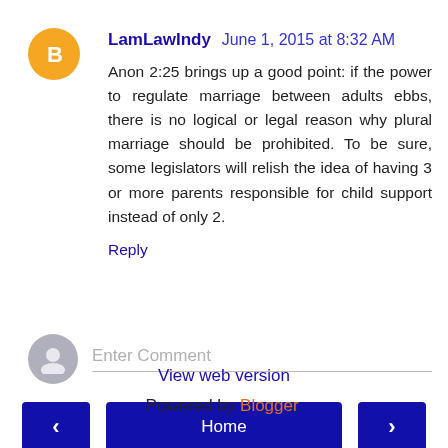LamLawIndy June 1, 2015 at 8:32 AM
Anon 2:25 brings up a good point: if the power to regulate marriage between adults ebbs, there is no logical or legal reason why plural marriage should be prohibited. To be sure, some legislators will relish the idea of having 3 or more parents responsible for child support instead of only 2.
Reply
Enter Comment
Home
View web version
Powered by Blogger.